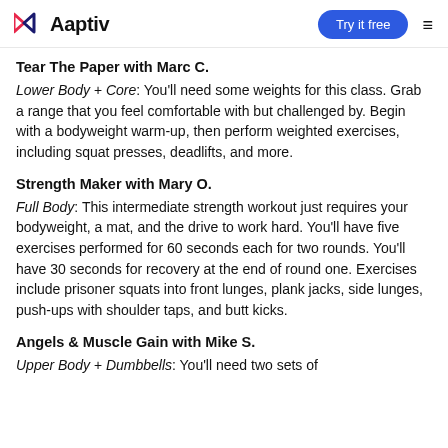Aaptiv | Try it free
Tear The Paper with Marc C.
Lower Body + Core: You'll need some weights for this class. Grab a range that you feel comfortable with but challenged by. Begin with a bodyweight warm-up, then perform weighted exercises, including squat presses, deadlifts, and more.
Strength Maker with Mary O.
Full Body: This intermediate strength workout just requires your bodyweight, a mat, and the drive to work hard. You'll have five exercises performed for 60 seconds each for two rounds. You'll have 30 seconds for recovery at the end of round one. Exercises include prisoner squats into front lunges, plank jacks, side lunges, push-ups with shoulder taps, and butt kicks.
Angels & Muscle Gain with Mike S.
Upper Body + Dumbbells: You'll need two sets of